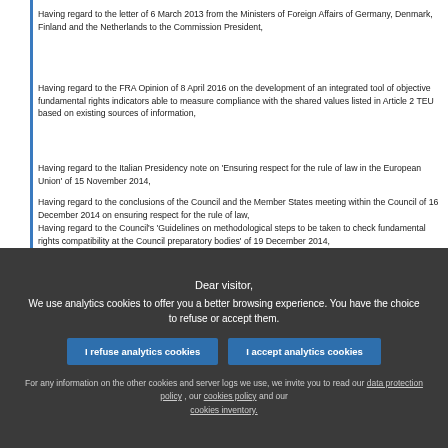Having regard to the letter of 6 March 2013 from the Ministers of Foreign Affairs of Germany, Denmark, Finland and the Netherlands to the Commission President,
Having regard to the FRA Opinion of 8 April 2016 on the development of an integrated tool of objective fundamental rights indicators able to measure compliance with the shared values listed in Article 2 TEU based on existing sources of information,
Having regard to the Italian Presidency note on 'Ensuring respect for the rule of law in the European Union' of 15 November 2014,
Having regard to the conclusions of the Council and the Member States meeting within the Council of 16 December 2014 on ensuring respect for the rule of law,
Having regard to the Council's 'Guidelines on methodological steps to be taken to check fundamental rights compatibility at the Council preparatory bodies' of 19 December 2014,
Dear visitor, We use analytics cookies to offer you a better browsing experience. You have the choice to refuse or accept them. I refuse analytics cookies | I accept analytics cookies. For any information on the other cookies and server logs we use, we invite you to read our data protection policy, our cookies policy and our cookies inventory.